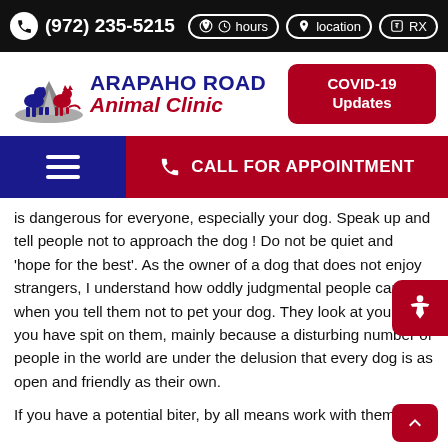(972) 235-5215   hours   location   RX
[Figure (logo): Arapaho Road Animal Clinic logo with dog and cat silhouette on road graphic]
COVID-19 Updates
CALL FOR APPOINTMENT
is dangerous for everyone, especially your dog. Speak up and tell people not to approach the dog ! Do not be quiet and 'hope for the best'. As the owner of a dog that does not enjoy strangers, I understand how oddly judgmental people can be when you tell them not to pet your dog. They look at you like you have spit on them, mainly because a disturbing number of people in the world are under the delusion that every dog is as open and friendly as their own.
If you have a potential biter, by all means work with them